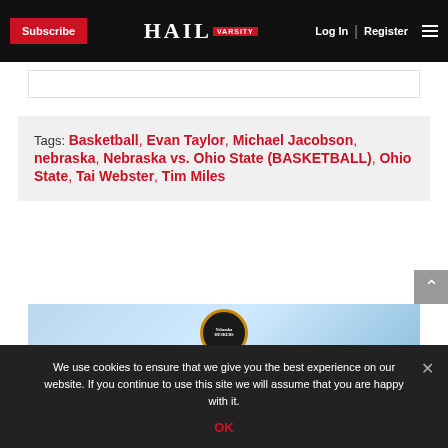Subscribe | HAIL VARSITY | Log In | Register
Tags: Basketball, Evan Taylor, Michael Jacobson, nebraska, Nebraska vs. Ohio State (BASKETBALL), Ohio State, Tai Webster, Tim Miles
[Figure (logo): Nebraska Huskers logo on blue background]
We use cookies to ensure that we give you the best experience on our website. If you continue to use this site we will assume that you are happy with it. OK